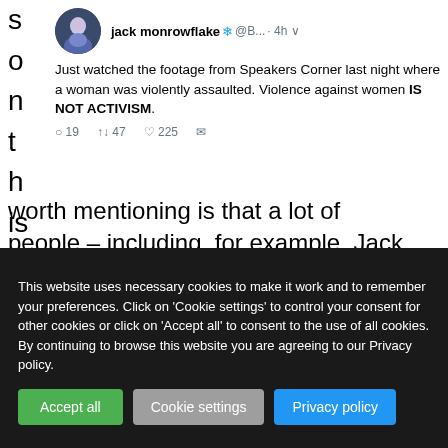[Figure (screenshot): Screenshot of a Twitter/X post by jack monrowflake (@B...) posted 4h ago. The tweet reads: 'Just watched the footage from Speakers Corner last night where a woman was violently assaulted. Violence against women IS NOT ACTIVISM.' With engagement stats: 19 replies, 47 retweets, 225 likes.]
worth mentioning is that a lot of people – including, for example, Jack
This website uses necessary cookies to make it work and to remember your preferences. Click on 'Cookie settings' to control your consent for other cookies or click on 'Accept all' to consent to the use of all cookies. By continuing to browse this website you are agreeing to our Privacy policy.
Accept all | Cookie settings | Privacy policy